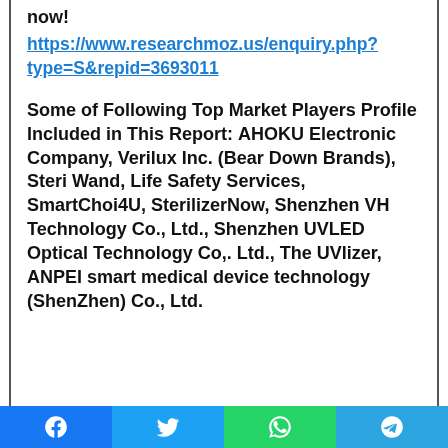now!
https://www.researchmoz.us/enquiry.php?type=S&repid=3693011
Some of Following Top Market Players Profile Included in This Report: AHOKU Electronic Company, Verilux Inc. (Bear Down Brands), Steri Wand, Life Safety Services, SmartChoi4U, SterilizerNow, Shenzhen VH Technology Co., Ltd., Shenzhen UVLED Optical Technology Co,. Ltd., The UVlizer, ANPEI smart medical device technology (ShenZhen) Co., Ltd.
Facebook | Twitter | WhatsApp | Telegram